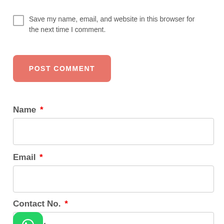Save my name, email, and website in this browser for the next time I comment.
POST COMMENT
Name *
Email *
Contact No. *
[Figure (logo): WhatsApp green logo icon]
Country